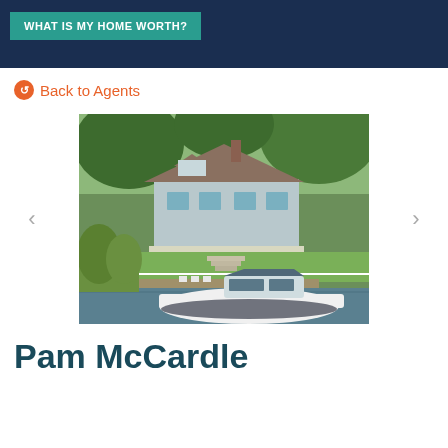WHAT IS MY HOME WORTH?
← Back to Agents
[Figure (photo): Aerial view of a waterfront home with green lawn, dock, and a white motorboat moored in a canal. The house has a traditional shingle-style design with dormer windows surrounded by trees.]
Pam McCardle